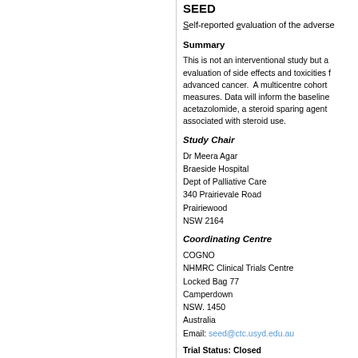SEED
Self-reported evaluation of the adverse
Summary
This is not an interventional study but a evaluation of side effects and toxicities f advanced cancer. A multicentre cohort measures. Data will inform the baseline acetazolomide, a steroid sparing agent associated with steroid use.
Study Chair
Dr Meera Agar
Braeside Hospital
Dept of Palliative Care
340 Prairievale Road
Prairiewood
NSW 2164
Coordinating Centre
COGNO
NHMRC Clinical Trials Centre
Locked Bag 77
Camperdown
NSW. 1450
Australia
Email: seed@ctc.usyd.edu.au
Trial Status: Closed